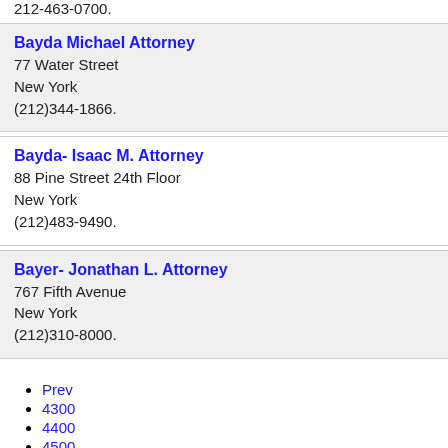212-463-0700.
Bayda Michael Attorney
77 Water Street
New York
(212)344-1866.
Bayda- Isaac M. Attorney
88 Pine Street 24th Floor
New York
(212)483-9490.
Bayer- Jonathan L. Attorney
767 Fifth Avenue
New York
(212)310-8000.
Prev
4300
4400
4500
4600
4700
4800